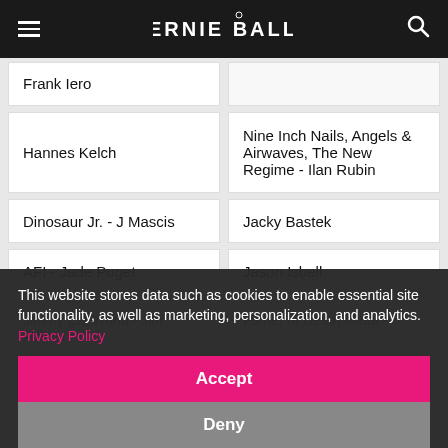Ernie Ball
| Frank Iero |  |
| Hannes Kelch | Nine Inch Nails, Angels & Airwaves, The New Regime - Ilan Rubin |
| Dinosaur Jr. - J Mascis | Jacky Bastek |
| AFI - Jade Puget | Jason Isbell |
| Jimmy Eat World - Jim Adkins | Father of Death Metal - (partially obscured) |
| Rascal... John Rooney | Myung |
This website stores data such as cookies to enable essential site functionality, as well as marketing, personalization, and analytics. Privacy Policy
Accept
Deny